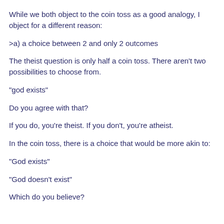While we both object to the coin toss as a good analogy, I object for a different reason:
>a) a choice between 2 and only 2 outcomes
The theist question is only half a coin toss. There aren't two possibilities to choose from.
"god exists"
Do you agree with that?
If you do, you're theist. If you don't, you're atheist.
In the coin toss, there is a choice that would be more akin to:
"God exists"
"God doesn't exist"
Which do you believe?